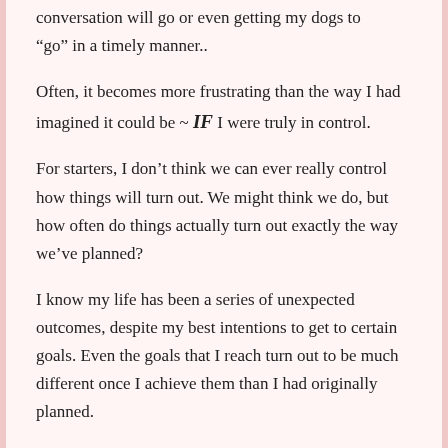conversation will go or even getting my dogs to “go” in a timely manner..
Often, it becomes more frustrating than the way I had imagined it could be ~ IF I were truly in control.
For starters, I don’t think we can ever really control how things will turn out. We might think we do, but how often do things actually turn out exactly the way we’ve planned?
I know my life has been a series of unexpected outcomes, despite my best intentions to get to certain goals. Even the goals that I reach turn out to be much different once I achieve them than I had originally planned.